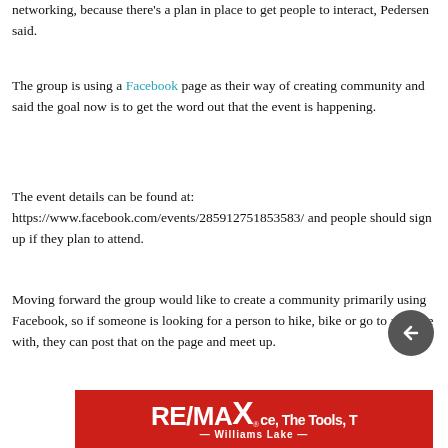networking, because there's a plan in place to get people to interact, Pedersen said.
The group is using a Facebook page as their way of creating community and said the goal now is to get the word out that the event is happening.
The event details can be found at: https://www.facebook.com/events/285912751853583/ and people should sign up if they plan to attend.
Moving forward the group would like to create a community primarily using Facebook, so if someone is looking for a person to hike, bike or go to a movie with, they can post that on the page and meet up.
[Figure (logo): RE/MAX Williams Lake advertisement banner with red background showing RE/MAX logo and text 'ce, The Tools, T']